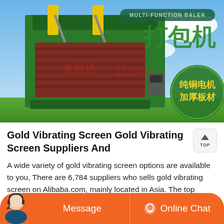[Figure (photo): Product image of a green multi-function baler machine with Chinese text. Background shows blue sky with clouds. Text includes 'MULTI-FUNCTION BALER', Chinese characters for 'baling machine' (打包机), and promotional text '纯铜电机 加厚板材' (pure copper motor, thickened plates) in a green circular badge.]
Gold Vibrating Screen Gold Vibrating Screen Suppliers And
A wide variety of gold vibrating screen options are available to you, There are 6,784 suppliers who sells gold vibrating screen on Alibaba.com, mainly located in Asia. The top countries of suppliers are China, Taiwan, China, from which the percentage of gold vibrating screen supply is 81%, 18% respectively.